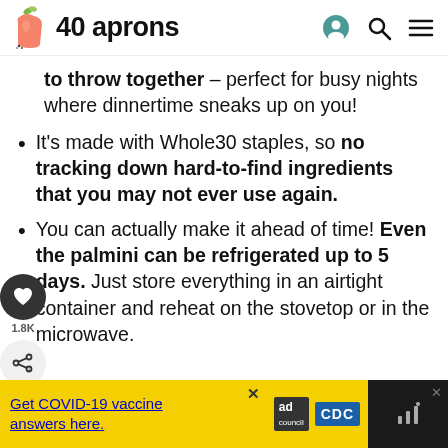40 aprons
to throw together – perfect for busy nights where dinnertime sneaks up on you!
It's made with Whole30 staples, so no tracking down hard-to-find ingredients that you may not ever use again.
You can actually make it ahead of time! Even the palmini can be refrigerated up to 5 days. Just store everything in an airtight container and reheat on the stovetop or in the microwave.
[Figure (screenshot): Ad banner: Get COVID-19 vaccine answers here with ad council and CDC logos]